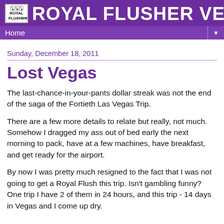ROYAL FLUSHER VEGAS
Home
Sunday, December 18, 2011
Lost Vegas
The last-chance-in-your-pants dollar streak was not the end of the saga of the Fortieth Las Vegas Trip.
There are a few more details to relate but really, not much. Somehow I dragged my ass out of bed early the next morning to pack, have at a few machines, have breakfast, and get ready for the airport.
By now I was pretty much resigned to the fact that I was not going to get a Royal Flush this trip. Isn't gambling funny? One trip I have 2 of them in 24 hours, and this trip - 14 days in Vegas and I come up dry.